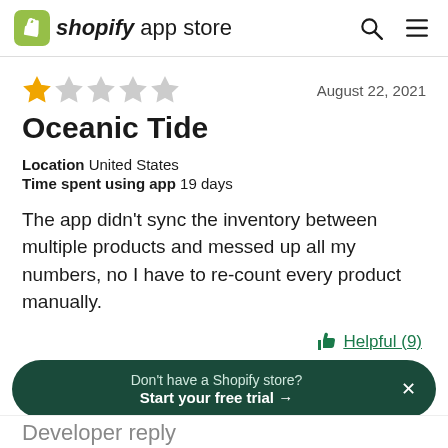shopify app store
★☆☆☆☆   August 22, 2021
Oceanic Tide
Location   United States
Time spent using app   19 days
The app didn't sync the inventory between multiple products and messed up all my numbers, no I have to re-count every product manually.
Helpful (9)
Don't have a Shopify store? Start your free trial →
Developer reply